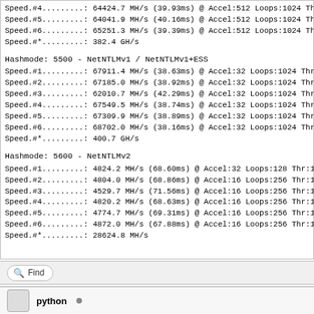Speed.#4.........: 64424.7 MH/s (39.93ms) @ Accel:512 Loops:1024 Thr:
Speed.#5.........: 64041.9 MH/s (40.16ms) @ Accel:512 Loops:1024 Thr:
Speed.#6.........: 65251.3 MH/s (39.39ms) @ Accel:512 Loops:1024 Thr:
Speed.#*.........:  382.4 GH/s
Hashmode: 5500 - NetNTLMv1 / NetNTLMv1+ESS
Speed.#1.........: 67911.4 MH/s (38.63ms) @ Accel:32 Loops:1024 Thr:16
Speed.#2.........: 67185.0 MH/s (38.92ms) @ Accel:32 Loops:1024 Thr:16
Speed.#3.........: 62010.7 MH/s (42.29ms) @ Accel:32 Loops:1024 Thr:16
Speed.#4.........: 67549.5 MH/s (38.74ms) @ Accel:32 Loops:1024 Thr:16
Speed.#5.........: 67309.9 MH/s (38.89ms) @ Accel:32 Loops:1024 Thr:16
Speed.#6.........: 68702.0 MH/s (38.16ms) @ Accel:32 Loops:1024 Thr:16
Speed.#*.........:  400.7 GH/s
Hashmode: 5600 - NetNTLMv2
Speed.#1.........:  4824.2 MH/s (68.60ms) @ Accel:32 Loops:128 Thr:102
Speed.#2.........:  4804.0 MH/s (68.86ms) @ Accel:16 Loops:256 Thr:102
Speed.#3.........:  4529.7 MH/s (71.56ms) @ Accel:16 Loops:256 Thr:102
Speed.#4.........:  4820.2 MH/s (68.63ms) @ Accel:16 Loops:256 Thr:102
Speed.#5.........:  4774.7 MH/s (69.31ms) @ Accel:16 Loops:256 Thr:102
Speed.#6.........:  4872.0 MH/s (67.88ms) @ Accel:16 Loops:256 Thr:102
Speed.#*.........: 28624.8 MH/s
Find
python